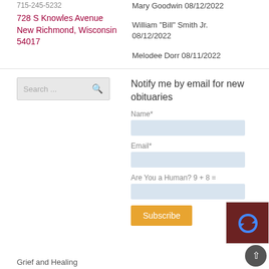715-245-5232
728 S Knowles Avenue New Richmond, Wisconsin 54017
Mary Goodwin 08/12/2022
William "Bill" Smith Jr. 08/12/2022
Melodee Dorr 08/11/2022
[Figure (screenshot): Search input box with placeholder text 'Search ...' and a search icon]
Notify me by email for new obituaries
Name*
Email*
Are You a Human? 9 + 8 =
Subscribe
[Figure (other): reCAPTCHA widget with blue recycling arrows icon on dark red background]
Grief and Healing